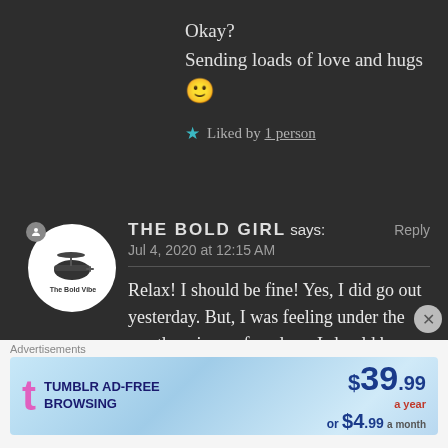Okay?
Sending loads of love and hugs 🙂
★ Liked by 1 person
THE BOLD GIRL says: Reply
Jul 4, 2020 at 12:15 AM
Relax! I should be fine! Yes, I did go out yesterday. But, I was feeling under the weather since a few days. I should be
[Figure (screenshot): Tumblr Ad-Free Browsing advertisement: $39.99 a year or $4.99 a month]
Advertisements